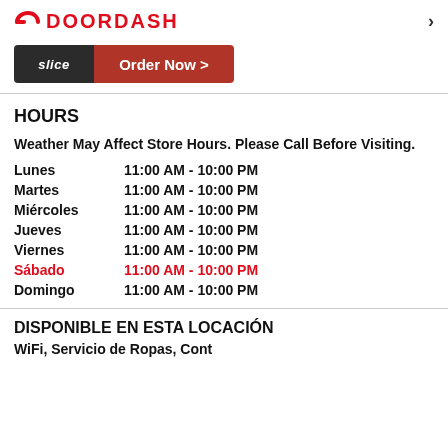[Figure (logo): DoorDash logo with red dash icon and red text DOORDASH, and a right chevron arrow on the right]
[Figure (logo): Slice 'Order Now >' button with dark background for Slice logo and red background for Order Now text]
HOURS
Weather May Affect Store Hours. Please Call Before Visiting.
| Day | Hours |
| --- | --- |
| Lunes | 11:00 AM - 10:00 PM |
| Martes | 11:00 AM - 10:00 PM |
| Miércoles | 11:00 AM - 10:00 PM |
| Jueves | 11:00 AM - 10:00 PM |
| Viernes | 11:00 AM - 10:00 PM |
| Sábado | 11:00 AM - 10:00 PM |
| Domingo | 11:00 AM - 10:00 PM |
DISPONIBLE EN ESTA LOCACIÓN
WiFi, Servicio de Ropas, ...